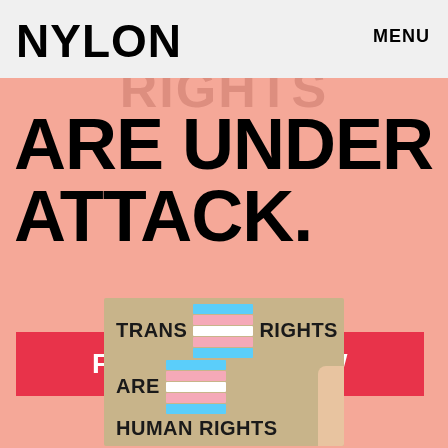NYLON  MENU
ARE UNDER ATTACK.
FIGHT BACK NOW
[Figure (photo): Person holding a cardboard sign reading 'TRANS RIGHTS ARE HUMAN RIGHTS' with transgender pride flag stripes (blue, pink, white) overlaid on the sign, against a salmon/coral pink background.]